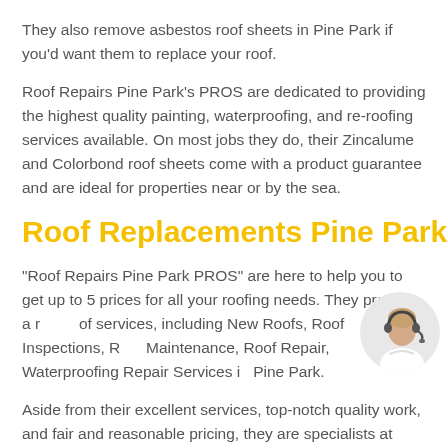They also remove asbestos roof sheets in Pine Park if you'd want them to replace your roof.
Roof Repairs Pine Park's PROS are dedicated to providing the highest quality painting, waterproofing, and re-roofing services available. On most jobs they do, their Zincalume and Colorbond roof sheets come with a product guarantee and are ideal for properties near or by the sea.
Roof Replacements Pine Park
"Roof Repairs Pine Park PROS" are here to help you to get up to 5 prices for all your roofing needs. They provide a range of services, including New Roofs, Roof Inspections, Roof Maintenance, Roof Repair, Waterproofing Repair Services in Pine Park.
[Figure (photo): Person wearing a headset, circular cropped photo, positioned at bottom right of the paragraph]
Aside from their excellent services, top-notch quality work, and fair and reasonable pricing, they are specialists at what